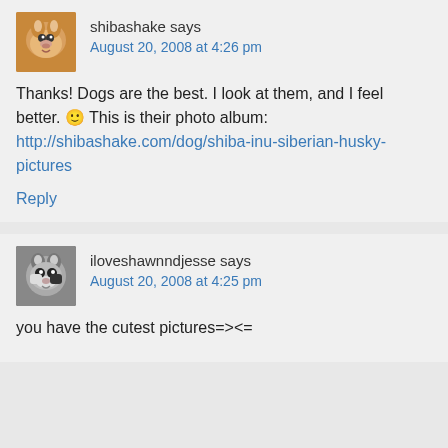shibashake says
August 20, 2008 at 4:26 pm
Thanks! Dogs are the best. I look at them, and I feel better. 🙂 This is their photo album: http://shibashake.com/dog/shiba-inu-siberian-husky-pictures
Reply
iloveshawnndjesse says
August 20, 2008 at 4:25 pm
you have the cutest pictures=><=